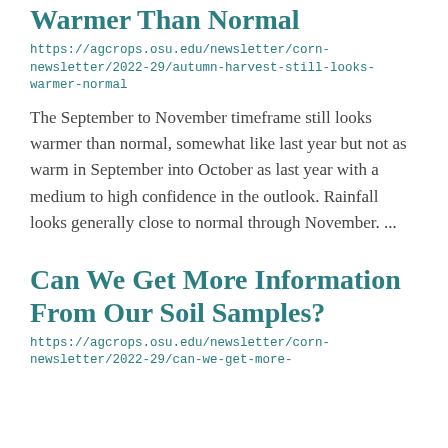Warmer Than Normal
https://agcrops.osu.edu/newsletter/corn-newsletter/2022-29/autumn-harvest-still-looks-warmer-normal
The September to November timeframe still looks warmer than normal, somewhat like last year but not as warm in September into October as last year with a medium to high confidence in the outlook. Rainfall looks generally close to normal through November. ...
Can We Get More Information From Our Soil Samples?
https://agcrops.osu.edu/newsletter/corn-newsletter/2022-29/can-we-get-more-